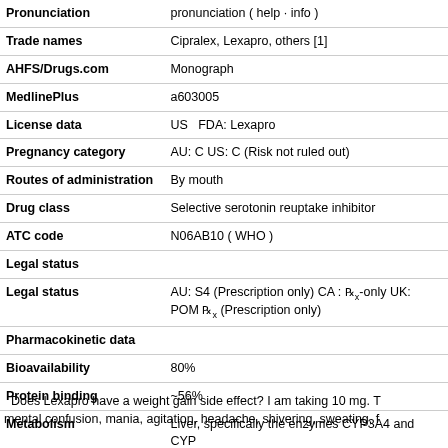| Property | Value |
| --- | --- |
| Pronunciation | pronunciation  ( help · info ) |
| Trade names | Cipralex, Lexapro, others [1] |
| AHFS/Drugs.com | Monograph |
| MedlinePlus | a603005 |
| License data | US   FDA: Lexapro |
| Pregnancy category | AU: C US: C (Risk not ruled out) |
| Routes of administration | By mouth |
| Drug class | Selective serotonin reuptake inhibitor |
| ATC code | N06AB10 ( WHO ) |
| Legal status |  |
| Legal status | AU: S4 (Prescription only) CA : Rx-only UK: POM Rx (Prescription only) |
| Pharmacokinetic data |  |
| Bioavailability | 80% |
| Protein binding | ~56% |
| Metabolism | Liver, specifically the enzymes CYP3A4 and CYP |
| Elimination half-life | 27–32 hours |
Does Lexapro have a weight gain side effect? I am taking 10 mg. T mental confusion, mania, agitation, headache, shivering, sweating, f